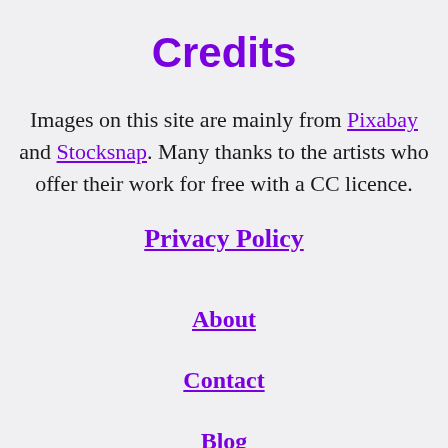Credits
Images on this site are mainly from Pixabay and Stocksnap. Many thanks to the artists who offer their work for free with a CC licence.
Privacy Policy
About
Contact
Blog
Blog archive
Resources